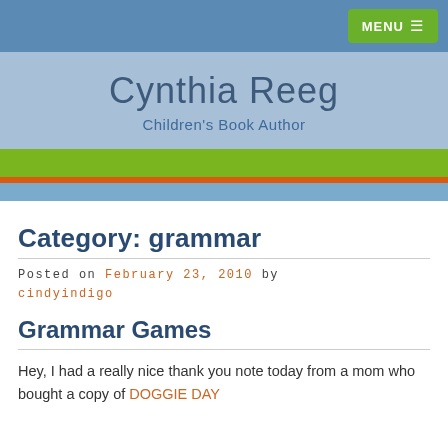MENU
Cynthia Reeg
Children's Book Author
Category: grammar
Posted on February 23, 2010 by cindyindigo
Grammar Games
Hey, I had a really nice thank you note today from a mom who bought a copy of DOGGIE DAY